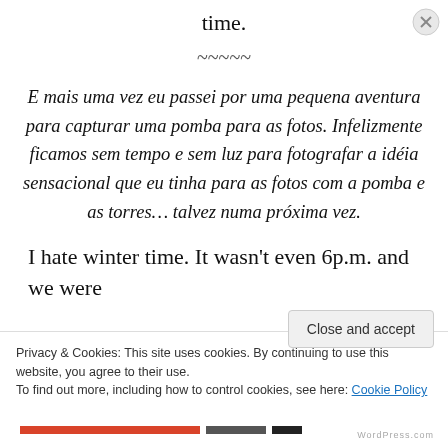time.
~~~~~
E mais uma vez eu passei por uma pequena aventura para capturar uma pomba para as fotos. Infelizmente ficamos sem tempo e sem luz para fotografar a idéia sensacional que eu tinha para as fotos com a pomba e as torres… talvez numa próxima vez.
I hate winter time. It wasn't even 6p.m. and we were
Privacy & Cookies: This site uses cookies. By continuing to use this website, you agree to their use.
To find out more, including how to control cookies, see here: Cookie Policy
Close and accept